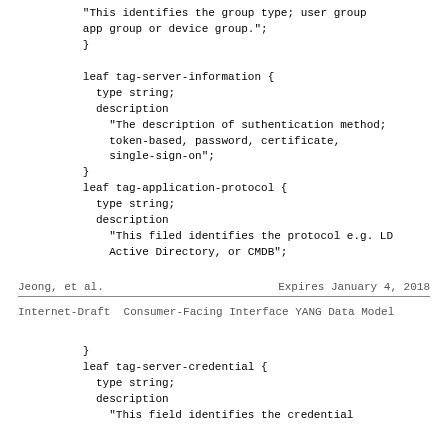"This identifies the group type; user group app group or device group.";
        }

        leaf tag-server-information {
          type string;
          description
            "The description of suthentication method;
            token-based, password, certificate,
            single-sign-on";
        }
        leaf tag-application-protocol {
          type string;
          description
            "This filed identifies the protocol e.g. LD
            Active Directory, or CMDB";
Jeong, et al.                Expires January 4, 2018
Internet-Draft   Consumer-Facing Interface YANG Data Model
}
        leaf tag-server-credential {
          type string;
          description
            "This field identifies the credential